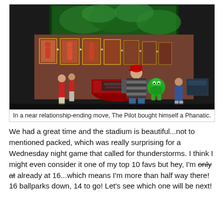[Figure (photo): A man standing in front of a baseball stadium at night, holding a green Phillie Phanatic stuffed animal toy. Behind him is a red brick building with illuminated player photos/murals, and a large green glowing billboard or signage at the top. Other people visible in background near a concession stand.]
In a near relationship-ending move, The Pilot bought himself a Phanatic.
We had a great time and the stadium is beautiful...not to mentioned packed, which was really surprising for a Wednesday night game that called for thunderstorms. I think I might even consider it one of my top 10 favs but hey, I'm only at already at 16...which means I'm more than half way there! 16 ballparks down, 14 to go! Let's see which one will be next!